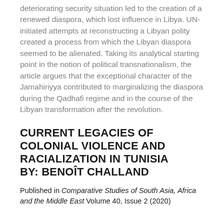deteriorating security situation led to the creation of a renewed diaspora, which lost influence in Libya. UN-initiated attempts at reconstructing a Libyan polity created a process from which the Libyan diaspora seemed to be alienated. Taking its analytical starting point in the notion of political transnationalism, the article argues that the exceptional character of the Jamahiriyya contributed to marginalizing the diaspora during the Qadhafi regime and in the course of the Libyan transformation after the revolution.
CURRENT LEGACIES OF COLONIAL VIOLENCE AND RACIALIZATION IN TUNISIA BY: BENOÎT CHALLAND
Published in Comparative Studies of South Asia, Africa and the Middle East Volume 40, Issue 2 (2020)